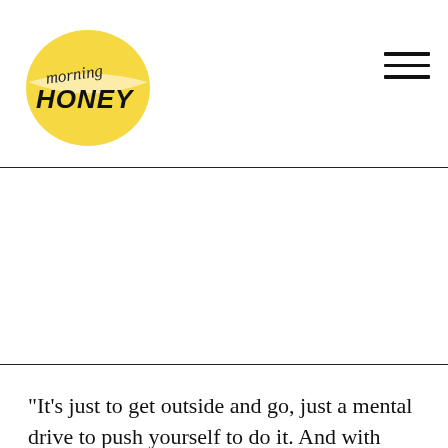morning HONEY
[Figure (other): White blank advertisement area below the header]
"It's just to get outside and go, just a mental drive to push yourself to do it. And with pregnancy and quarantine, it was hard to get outside and be able to keep up that normal part of my routine," the star admitted. "I don't know why but